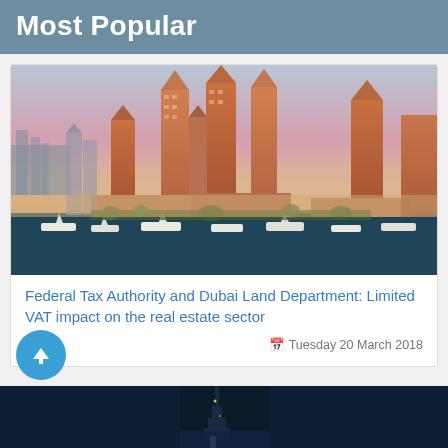Most Popular
[Figure (photo): Aerial view of Dubai Marina skyline at sunset showing luxury skyscrapers with pointed tops, a marina filled with yachts and boats, and warm orange-pink sky in the background.]
Federal Tax Authority and Dubai Land Department: Limited VAT impact on the real estate sector
Tuesday 20 March 2018